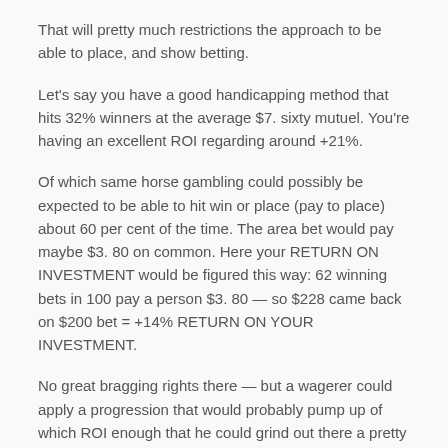That will pretty much restrictions the approach to be able to place, and show betting.
Let's say you have a good handicapping method that hits 32% winners at the average $7. sixty mutuel. You're having an excellent ROI regarding around +21%.
Of which same horse gambling could possibly be expected to be able to hit win or place (pay to place) about 60 per cent of the time. The area bet would pay maybe $3. 80 on common. Here your RETURN ON INVESTMENT would be figured this way: 62 winning bets in 100 pay a person $3. 80 — so $228 came back on $200 bet = +14% RETURN ON YOUR INVESTMENT.
No great bragging rights there — but a wagerer could apply a progression that would probably pump up of which ROI enough that he could grind out there a pretty